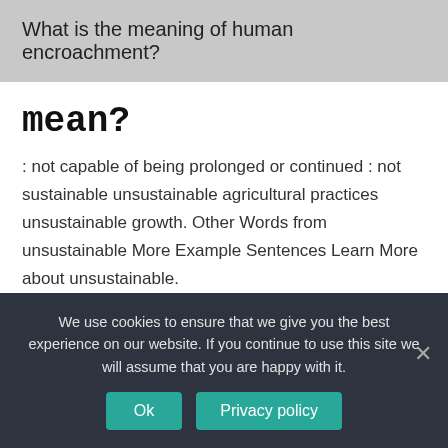What is the meaning of human encroachment?
mean?
: not capable of being prolonged or continued : not sustainable unsustainable agricultural practices unsustainable growth. Other Words from unsustainable More Example Sentences Learn More about unsustainable.
What is the opposite of
We use cookies to ensure that we give you the best experience on our website. If you continue to use this site we will assume that you are happy with it.